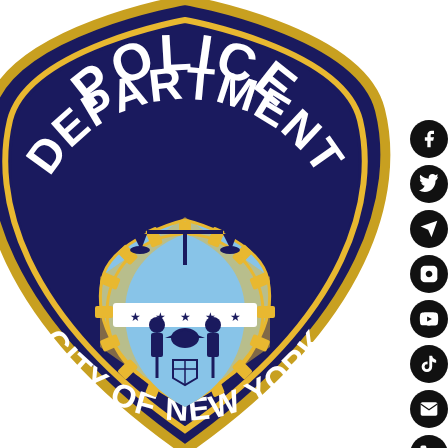[Figure (logo): NYPD Police Department City of New York badge/shield logo. Dark navy blue shield shape with gold border. Text 'POLICE DEPARTMENT' arched at top in white block letters. Text 'CITY OF NEW YORK' along the bottom arc in white block letters. Center features the NYC seal: light blue inner shield with gold sunburst/gear border, balance scales at top, banner with stars, and two figures (a sailor and a Native American) flanking a central eagle and shield motif.]
[Figure (infographic): Vertical column of 8 circular black social media icon buttons on the right side: Facebook, Twitter/X, Telegram, Instagram, YouTube, TikTok, Email (envelope), Phone. Below them is a gray square scroll-to-top button with an upward chevron.]